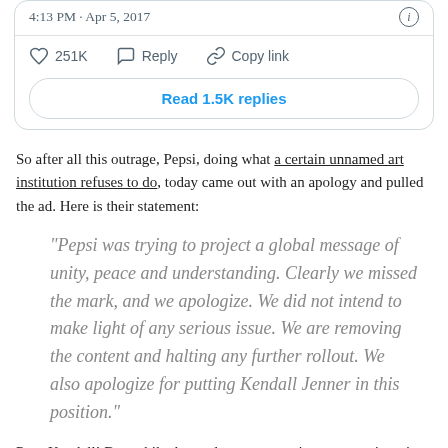[Figure (screenshot): Tweet card showing timestamp '4:13 PM · Apr 5, 2017', interaction counts (251K likes, Reply, Copy link), and a 'Read 1.5K replies' button]
So after all this outrage, Pepsi, doing what a certain unnamed art institution refuses to do, today came out with an apology and pulled the ad. Here is their statement:
“Pepsi was trying to project a global message of unity, peace and understanding. Clearly we missed the mark, and we apologize. We did not intend to make light of any serious issue. We are removing the content and halting any further rollout. We also apologize for putting Kendall Jenner in this position.”
Poor Kendall! But, while the apology was succinct, you can’t unring that bell